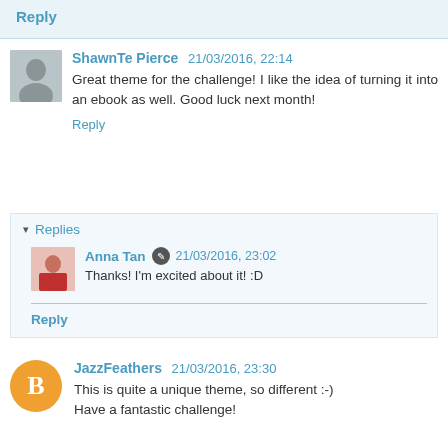Reply
ShawnTe Pierce 21/03/2016, 22:14
Great theme for the challenge! I like the idea of turning it into an ebook as well. Good luck next month!
Reply
▾ Replies
Anna Tan ✎ 21/03/2016, 23:02
Thanks! I'm excited about it! :D
Reply
JazzFeathers 21/03/2016, 23:30
This is quite a unique theme, so different :-)
Have a fantastic challenge!